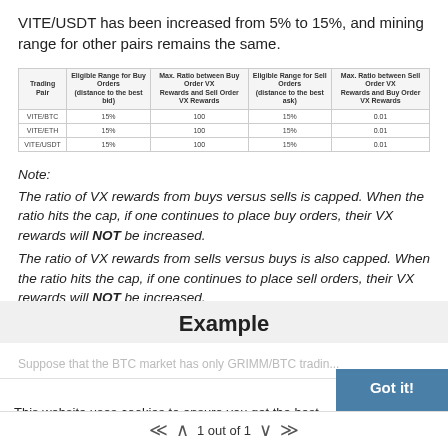VITE/USDT has been increased from 5% to 15%, and mining range for other pairs remains the same.
| Trading Pair | Eligible Range for Buy Orders (distance to the best bid) | Max. Ratio between Buy Order VX Rewards and Sell Order VX Rewards | Eligible Range for Sell Orders (distance to the best ask) | Max. Ratio between Sell Order VX Rewards and Buy Order VX Rewards |
| --- | --- | --- | --- | --- |
| VITE/BTC | 15% | 100 | 15% | 0.01 |
| VITE/ETH | 15% | 100 | 15% | 0.01 |
| VITE/USDT | 15% | 100 | 15% | 0.01 |
Note:
The ratio of VX rewards from buys versus sells is capped. When the ratio hits the cap, if one continues to place buy orders, their VX rewards will NOT be increased.
The ratio of VX rewards from sells versus buys is also capped. When the ratio hits the cap, if one continues to place sell orders, their VX rewards will NOT be increased.
Example
This website uses cookies to ensure you get the best
Suppose that the BTC market has only GRIMM/BTC trading pair...
1 out of 1